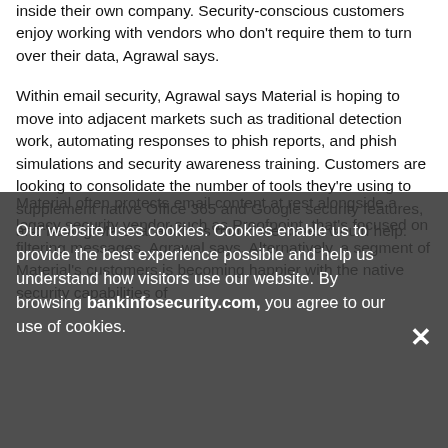inside their own company. Security-conscious customers enjoy working with vendors who don't require them to turn over their data, Agrawal says.
Within email security, Agrawal says Material is hoping to move into adjacent markets such as traditional detection work, automating responses to phish reports, and phish simulations and security awareness training. Customers are looking to consolidate the number of tools they're using to supplement native Office 365 and Google security features, and having Material address more use cases would help.
Material often protects email content at rest alongside a legacy security vendor such as Proofpoint, that's focused on filtering messages, Agrawal says. Alternatively, a segment of Material's customers is becoming happier with the native security capabilities of
Our website uses cookies. Cookies enable us to provide the best experience possible and help us understand how visitors use our website. By browsing bankinfosecurity.com, you agree to our use of cookies.